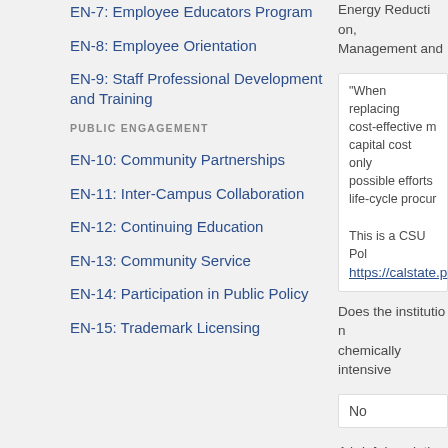EN-7: Employee Educators Program
EN-8: Employee Orientation
EN-9: Staff Professional Development and Training
PUBLIC ENGAGEMENT
EN-10: Community Partnerships
EN-11: Inter-Campus Collaboration
EN-12: Continuing Education
EN-13: Community Service
EN-14: Participation in Public Policy
EN-15: Trademark Licensing
Energy Reduction, Management and...
"When replacing cost-effective m capital cost only possible efforts life-cycle procur
This is a CSU Po https://calstate.p
Does the institution chemically intensiv
No
A brief description and services: